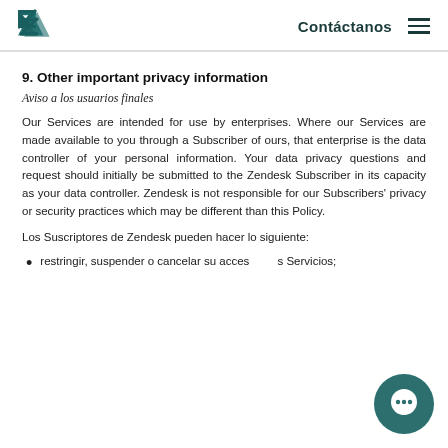Contáctanos
9. Other important privacy information
Aviso a los usuarios finales
Our Services are intended for use by enterprises. Where our Services are made available to you through a Subscriber of ours, that enterprise is the data controller of your personal information. Your data privacy questions and request should initially be submitted to the Zendesk Subscriber in its capacity as your data controller. Zendesk is not responsible for our Subscribers' privacy or security practices which may be different than this Policy.
Los Suscriptores de Zendesk pueden hacer lo siguiente:
restringir, suspender o cancelar su acceso a los Servicios;